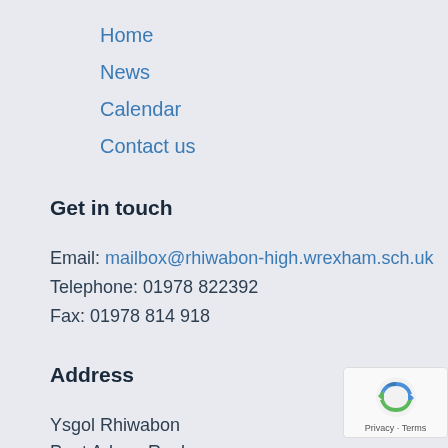Home
News
Calendar
Contact us
Get in touch
Email: mailbox@rhiwabon-high.wrexham.sch.uk
Telephone: 01978 822392
Fax: 01978 814 918
Address
Ysgol Rhiwabon
Pont Adam, Ruabon